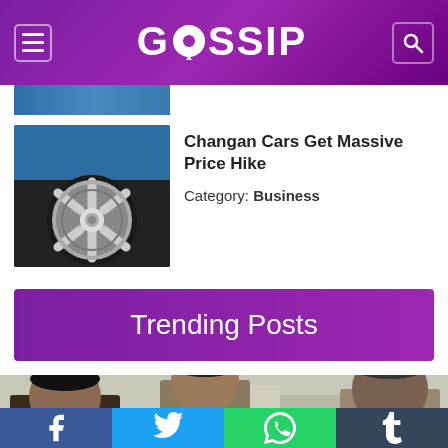GOSSIP
[Figure (photo): Partial view of blue car wheel/tire at top of page]
[Figure (photo): Close-up of car wheel/alloy rim of a blue car]
Changan Cars Get Massive Price Hike
Category: Business
Trending Posts
[Figure (photo): Military/police officers in uniform standing and talking]
Facebook | Twitter | WhatsApp | Tumblr